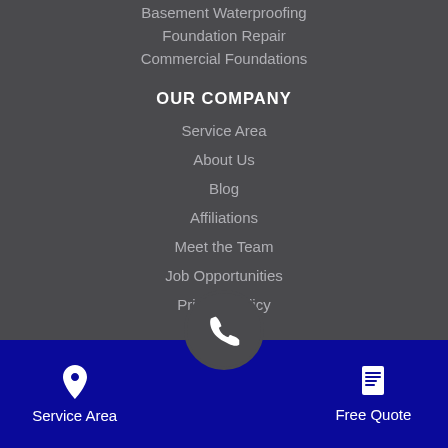Basement Waterproofing
Foundation Repair
Commercial Foundations
OUR COMPANY
Service Area
About Us
Blog
Affiliations
Meet the Team
Job Opportunities
Privacy Policy
Service Area   Free Quote